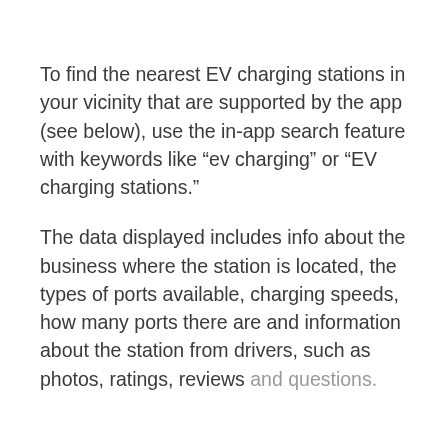To find the nearest EV charging stations in your vicinity that are supported by the app (see below), use the in-app search feature with keywords like “ev charging” or “EV charging stations.”
The data displayed includes info about the business where the station is located, the types of ports available, charging speeds, how many ports there are and information about the station from drivers, such as photos, ratings, reviews and questions.